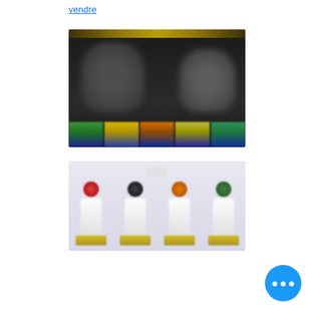vendre
[Figure (photo): Dark sports/judo photo with figures and colorful bottom row of items]
[Figure (photo): Product lineup showing four figurines/trophies on gold bases with colored badges]